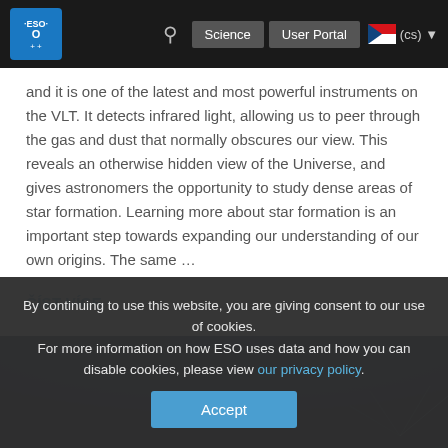ESO | Science | User Portal | (cs)
and it is one of the latest and most powerful instruments on the VLT. It detects infrared light, allowing us to peer through the gas and dust that normally obscures our view. This reveals an otherwise hidden view of the Universe, and gives astronomers the opportunity to study dense areas of star formation. Learning more about star formation is an important step towards expanding our understanding of our own origins. The same …
ČÍST VÍCE
[Figure (photo): Astronomical image showing a bright light source against a deep blue sky background, likely a telescope or observatory scene.]
By continuing to use this website, you are giving consent to our use of cookies.
For more information on how ESO uses data and how you can disable cookies, please view our privacy policy.
Accept